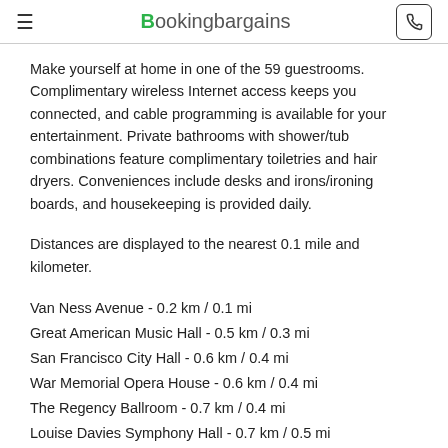BookingBargains
Make yourself at home in one of the 59 guestrooms. Complimentary wireless Internet access keeps you connected, and cable programming is available for your entertainment. Private bathrooms with shower/tub combinations feature complimentary toiletries and hair dryers. Conveniences include desks and irons/ironing boards, and housekeeping is provided daily.
Distances are displayed to the nearest 0.1 mile and kilometer.
Van Ness Avenue - 0.2 km / 0.1 mi
Great American Music Hall - 0.5 km / 0.3 mi
San Francisco City Hall - 0.6 km / 0.4 mi
War Memorial Opera House - 0.6 km / 0.4 mi
The Regency Ballroom - 0.7 km / 0.4 mi
Louise Davies Symphony Hall - 0.7 km / 0.5 mi
Civic Center Plaza - 0.7 km / 0.5 mi
Asian Art Museum of San Francisco - 0.9 km / 0.5 mi
Bill Graham Civic Auditorium - 0.9 km / 0.6 mi